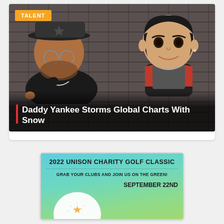[Figure (photo): Music scene photo showing a real person (man with hat and glasses) on the left and a 3D animated cartoon character on the right, against a brick wall background. A yellow 'TALENT' badge appears in the top-left corner. White text overlay at the bottom reads 'Daddy Yankee Storms Global Charts With Snow' with a red vertical bar accent.]
[Figure (illustration): 2022 Unison Charity Golf Classic promotional graphic with teal/green gradient background. Text reads '2022 UNISON CHARITY GOLF CLASSIC', 'GRAB YOUR CLUBS AND JOIN US ON THE GREEN!', and 'SEPTEMBER 22ND'. A golf ball illustration appears at the bottom left.]